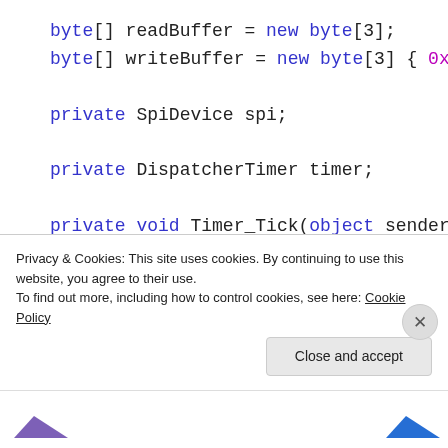byte[] readBuffer = new byte[3];
byte[] writeBuffer = new byte[3] { 0x06,

private SpiDevice spi;

private DispatcherTimer timer;

private void Timer_Tick(object sender, ob
{
    spi.TransferFullDuplex(writeBuffer, r
    int result = readBuffer[1] & 0x07;
Privacy & Cookies: This site uses cookies. By continuing to use this website, you agree to their use.
To find out more, including how to control cookies, see here: Cookie Policy